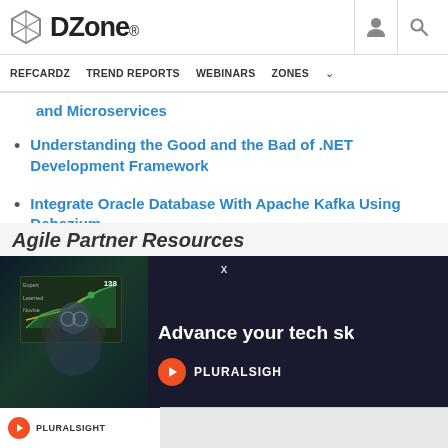DZone — REFCARDZ  TREND REPORTS  WEBINARS  ZONES
and Microservices
Understanding the Good and the Bad of .NET Development Framework
Integrate Oracle Database With Apache Kafka Using Debezium
Agile Partner Resources
[Figure (screenshot): Pluralsight advertisement overlay: 'Advance your tech sk...' with a person at a computer screen showing a chart with value 138, Pluralsight logo and branding on dark background.]